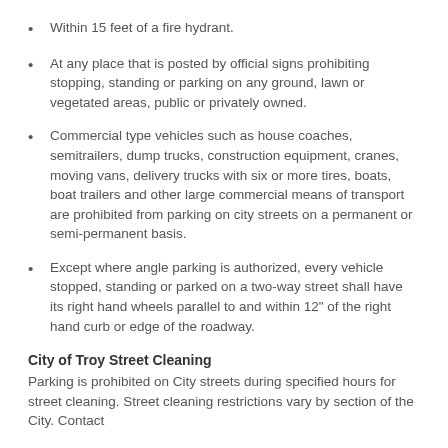Within 15 feet of a fire hydrant.
At any place that is posted by official signs prohibiting stopping, standing or parking on any ground, lawn or vegetated areas, public or privately owned.
Commercial type vehicles such as house coaches, semitrailers, dump trucks, construction equipment, cranes, moving vans, delivery trucks with six or more tires, boats, boat trailers and other large commercial means of transport are prohibited from parking on city streets on a permanent or semi-permanent basis.
Except where angle parking is authorized, every vehicle stopped, standing or parked on a two-way street shall have its right hand wheels parallel to and within 12” of the right hand curb or edge of the roadway.
City of Troy Street Cleaning
Parking is prohibited on City streets during specified hours for street cleaning. Street cleaning restrictions vary by section of the City. Contact